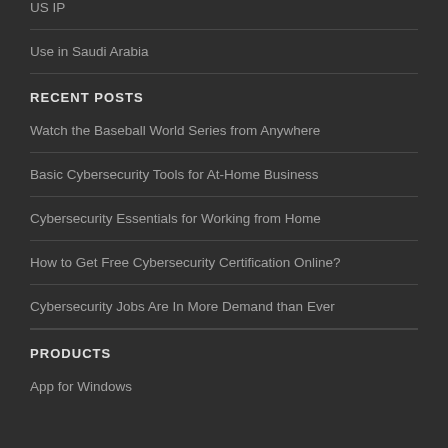US IP
Use in Saudi Arabia
RECENT POSTS
Watch the Baseball World Series from Anywhere
Basic Cybersecurity Tools for At-Home Business
Cybersecurity Essentials for Working from Home
How to Get Free Cybersecurity Certification Online?
Cybersecurity Jobs Are In More Demand than Ever
PRODUCTS
App for Windows